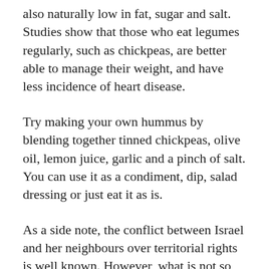also naturally low in fat, sugar and salt. Studies show that those who eat legumes regularly, such as chickpeas, are better able to manage their weight, and have less incidence of heart disease.
Try making your own hummus by blending together tinned chickpeas, olive oil, lemon juice, garlic and a pinch of salt. You can use it as a condiment, dip, salad dressing or just eat it as is.
As a side note, the conflict between Israel and her neighbours over territorial rights is well known. However, what is not so well publicised is the food war between Lebanon and Israel: the battle